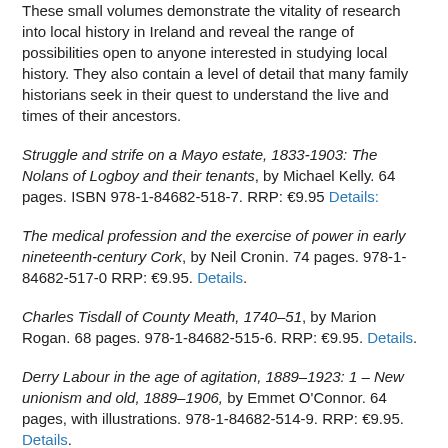These small volumes demonstrate the vitality of research into local history in Ireland and reveal the range of possibilities open to anyone interested in studying local history. They also contain a level of detail that many family historians seek in their quest to understand the live and times of their ancestors.
Struggle and strife on a Mayo estate, 1833-1903: The Nolans of Logboy and their tenants, by Michael Kelly. 64 pages. ISBN 978-1-84682-518-7. RRP: €9.95 Details:
The medical profession and the exercise of power in early nineteenth-century Cork, by Neil Cronin. 74 pages. 978-1-84682-517-0 RRP: €9.95. Details.
Charles Tisdall of County Meath, 1740–51, by Marion Rogan. 68 pages. 978-1-84682-515-6. RRP: €9.95. Details.
Derry Labour in the age of agitation, 1889–1923: 1 – New unionism and old, 1889–1906, by Emmet O'Connor. 64 pages, with illustrations. 978-1-84682-514-9. RRP: €9.95. Details.